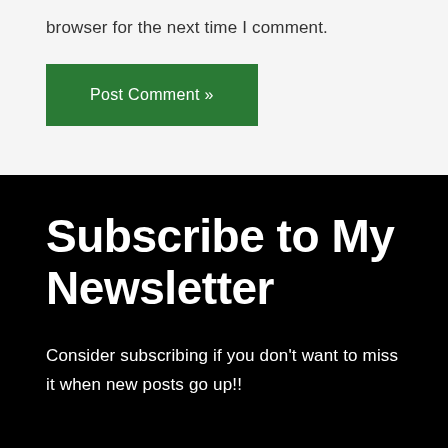browser for the next time I comment.
Post Comment »
Subscribe to My Newsletter
Consider subscribing if you don't want to miss it when new posts go up!!